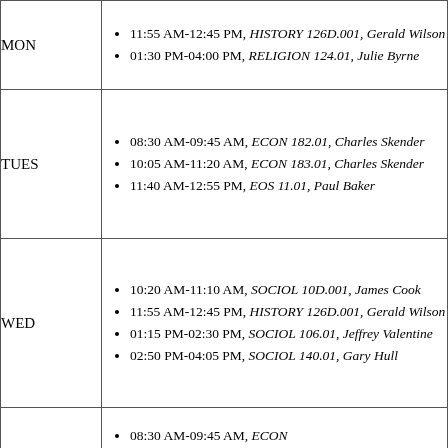| Day | Schedule |
| --- | --- |
| MON | 11:55 AM-12:45 PM, HISTORY 126D.001, Gerald Wilson | 01:30 PM-04:00 PM, RELIGION 124.01, Julie Byrne |
| TUES | 08:30 AM-09:45 AM, ECON 182.01, Charles Skender | 10:05 AM-11:20 AM, ECON 183.01, Charles Skender | 11:40 AM-12:55 PM, EOS 11.01, Paul Baker |
| WED | 10:20 AM-11:10 AM, SOCIOL 10D.001, James Cook | 11:55 AM-12:45 PM, HISTORY 126D.001, Gerald Wilson | 01:15 PM-02:30 PM, SOCIOL 106.01, Jeffrey Valentine | 02:50 PM-04:05 PM, SOCIOL 140.01, Gary Hull |
| THURS (partial) | 08:30 AM-09:45 AM, ECON ... |